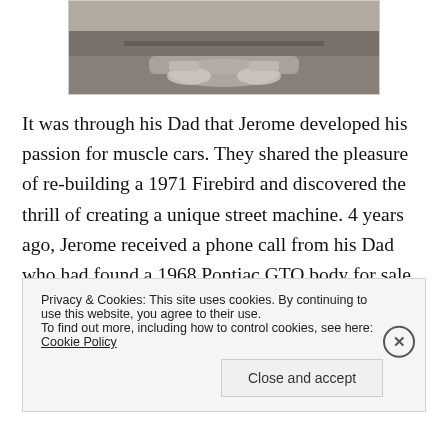[Figure (photo): Close-up photo of the underside/exhaust area of a classic muscle car, showing chrome exhaust pipes and underbody detail on a concrete floor.]
It was through his Dad that Jerome developed his passion for muscle cars. They shared the pleasure of re-building a 1971 Firebird and discovered the thrill of creating a unique street machine. 4 years ago, Jerome received a phone call from his Dad who had found a 1968 Pontiac GTO body for sale outside a sweet factory
Privacy & Cookies: This site uses cookies. By continuing to use this website, you agree to their use.
To find out more, including how to control cookies, see here: Cookie Policy
Close and accept